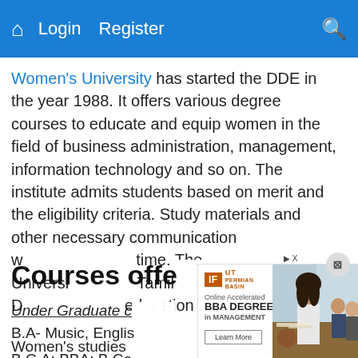Home  Login  Register  Search
Women's University has started the DDE in the year 1988. It offers various degree courses to educate and equip women in the field of business administration, management, information technology and so on. The institute admits students based on merit and the eligibility criteria. Study materials and other necessary communication will be sent to the enrolled candidates time. The University is located in Tamil Nadu. The DDE aims to provide quality education to the women.
Courses offered
Under Graduate courses
B.A- Music, English, Women's studies
B.C.A; BBA; B.Com
[Figure (advertisement): UT Permian Basin advertisement for Online Accelerated BBA Degree in Management with photo of woman in business meeting and orange background section reading Affordable BBA in Management]